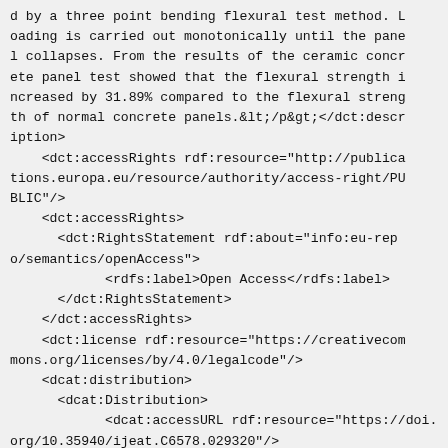d by a three point bending flexural test method. Loading is carried out monotonically until the panel collapses. From the results of the ceramic concrete panel test showed that the flexural strength increased by 31.89% compared to the flexural strength of normal concrete panels.&lt;/p&gt;</dct:description>
    <dct:accessRights rdf:resource="http://publications.europa.eu/resource/authority/access-right/PUBLIC"/>
    <dct:accessRights>
      <dct:RightsStatement rdf:about="info:eu-repo/semantics/openAccess">
            <rdfs:label>Open Access</rdfs:label>
      </dct:RightsStatement>
    </dct:accessRights>
    <dct:license rdf:resource="https://creativecommons.org/licenses/by/4.0/legalcode"/>
    <dcat:distribution>
      <dcat:Distribution>
            <dcat:accessURL rdf:resource="https://doi.org/10.35940/ijeat.C6578.029320"/>
            <dcat:byteSize>725050</dcat:byteSize>
            <dcat:downloadURL rdf:resource="https://zenodo.org/record/5595572/files/C6578029320.pdf"/>